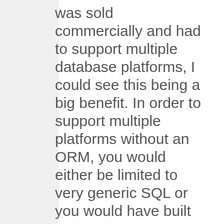was sold commercially and had to support multiple database platforms, I could see this being a big benefit. In order to support multiple platforms without an ORM, you would either be limited to very generic SQL or you would have built